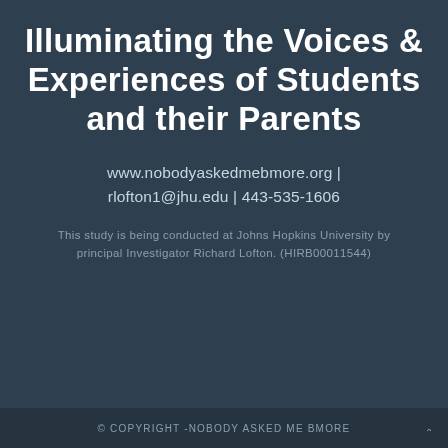Illuminating the Voices & Experiences of Students and their Parents
www.nobodyaskedmebmore.org | rlofton1@jhu.edu | 443-535-1606
This study is being conducted at Johns Hopkins University by principal Investigator Richard Lofton. (HIRB00011544)
© COPYRIGHT -NOBODY ASKED ME BMORE